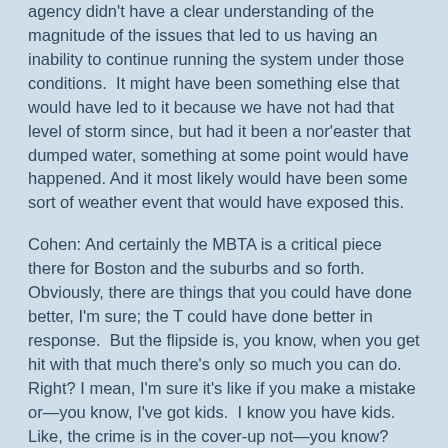agency didn't have a clear understanding of the magnitude of the issues that led to us having an inability to continue running the system under those conditions.  It might have been something else that would have led to it because we have not had that level of storm since, but had it been a nor'easter that dumped water, something at some point would have happened. And it most likely would have been some sort of weather event that would have exposed this.
Cohen: And certainly the MBTA is a critical piece there for Boston and the suburbs and so forth.  Obviously, there are things that you could have done better, I'm sure; the T could have done better in response.  But the flipside is, you know, when you get hit with that much there's only so much you can do. Right? I mean, I'm sure it's like if you make a mistake or—you know, I've got kids.  I know you have kids. Like, the crime is in the cover-up not—you know? Like, if you make a mistake, just admit you made a mistake; don't try to cover it up.